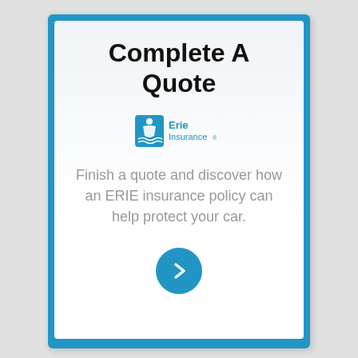Complete A Quote
[Figure (logo): Erie Insurance logo — blue shield with figure and waves, text 'Erie Insurance']
Finish a quote and discover how an ERIE insurance policy can help protect your car.